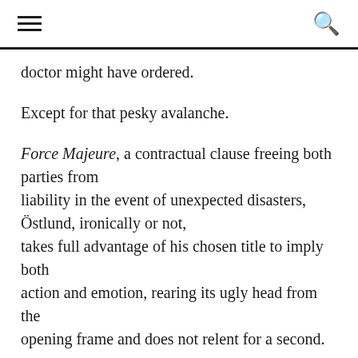[hamburger menu icon] [search icon]
doctor might have ordered.
Except for that pesky avalanche.
Force Majeure, a contractual clause freeing both parties from liability in the event of unexpected disasters, Östlund, ironically or not, takes full advantage of his chosen title to imply both action and emotion, rearing its ugly head from the opening frame and does not relent for a second.
That irony is no more readily apparent as the